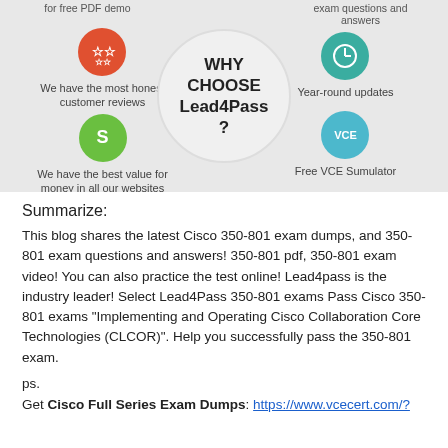[Figure (infographic): Why Choose Lead4Pass infographic with center circle text, left icons (red star circle with customer reviews text, green 'S' circle with best value text), right icons (teal clock circle with Year-round updates, cyan VCE circle with Free VCE Simulator)]
Summarize:
This blog shares the latest Cisco 350-801 exam dumps, and 350-801 exam questions and answers! 350-801 pdf, 350-801 exam video! You can also practice the test online! Lead4pass is the industry leader! Select Lead4Pass 350-801 exams Pass Cisco 350-801 exams "Implementing and Operating Cisco Collaboration Core Technologies (CLCOR)". Help you successfully pass the 350-801 exam.
ps.
Get Cisco Full Series Exam Dumps: https://www.vcecert.com/?